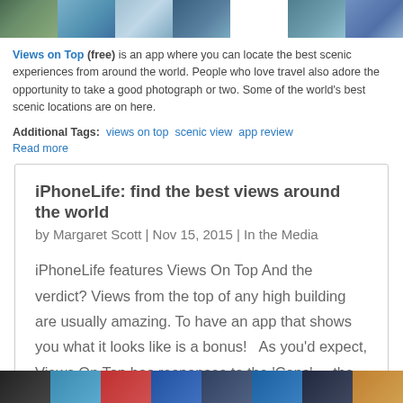[Figure (photo): Strip of scenic/travel photos at top of page]
Views on Top (free) is an app where you can locate the best scenic experiences from around the world. People who love travel also adore the opportunity to take a good photograph or two. Some of the world's best scenic locations are on here.
Additional Tags: views on top  scenic view  app review
Read more
iPhoneLife: find the best views around the world
by Margaret Scott | Nov 15, 2015 | In the Media
iPhoneLife features Views On Top And the verdict? Views from the top of any high building are usually amazing. To have an app that shows you what it looks like is a bonus!   As you'd expect, Views On Top has responses to the 'Cons' ... the symbols in the app are...
[Figure (photo): Strip of app screenshot thumbnails at bottom of page]